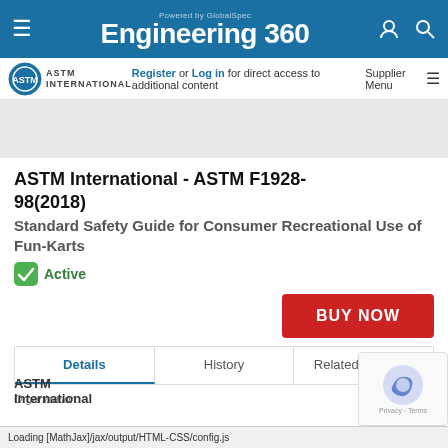Engineering 360 - Powered by GlobalSpec
Register or Log in for direct access to additional content | Supplier Menu
ASTM International - ASTM F1928-98(2018)
Standard Safety Guide for Consumer Recreational Use of Fun-Karts
Active
BUY NOW
Details | History | Related Products
Organization: ASTM International
Loading [MathJax]/jax/output/HTML-CSS/config.js